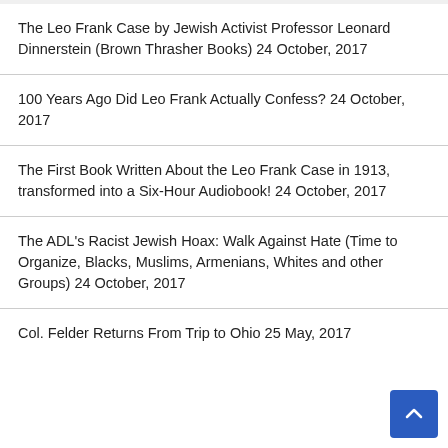The Leo Frank Case by Jewish Activist Professor Leonard Dinnerstein (Brown Thrasher Books) 24 October, 2017
100 Years Ago Did Leo Frank Actually Confess? 24 October, 2017
The First Book Written About the Leo Frank Case in 1913, transformed into a Six-Hour Audiobook! 24 October, 2017
The ADL's Racist Jewish Hoax: Walk Against Hate (Time to Organize, Blacks, Muslims, Armenians, Whites and other Groups) 24 October, 2017
Col. Felder Returns From Trip to Ohio 25 May, 2017